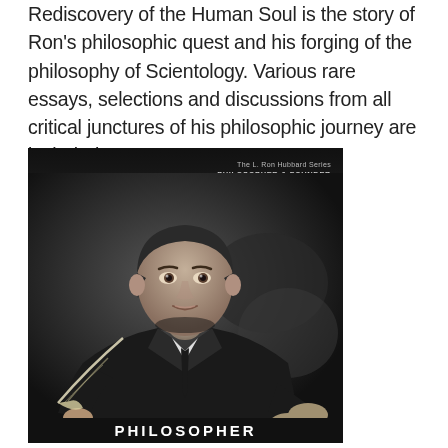Rediscovery of the Human Soul is the story of Ron's philosophic quest and his forging of the philosophy of Scientology. Various rare essays, selections and discussions from all critical junctures of his philosophic journey are included.
[Figure (photo): Book cover of 'The L. Ron Hubbard Series: Philosopher & Founder' showing a black and white photo of L. Ron Hubbard in a suit, holding a quill pen, with large watermark letters 'RON' in the background. Bottom text reads 'PHILOSOPHER'.]